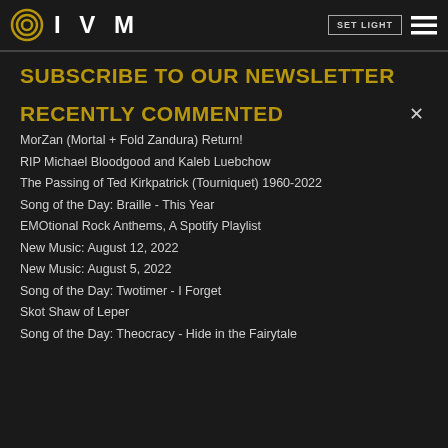IVM | SET LIGHT
SUBSCRIBE TO OUR NEWSLETTER
RECENTLY COMMENTED
MorZan (Mortal + Fold Zandura) Return!
RIP Michael Bloodgood and Kaleb Luebchow
The Passing of Ted Kirkpatrick (Tourniquet) 1960-2022
Song of the Day: Braille - This Year
EMOtional Rock Anthems, A Spotify Playlist
New Music: August 12, 2022
New Music: August 5, 2022
Song of the Day: Twotimer - I Forget
Skot Shaw of Leper
Song of the Day: Theocracy - Hide in the Fairytale